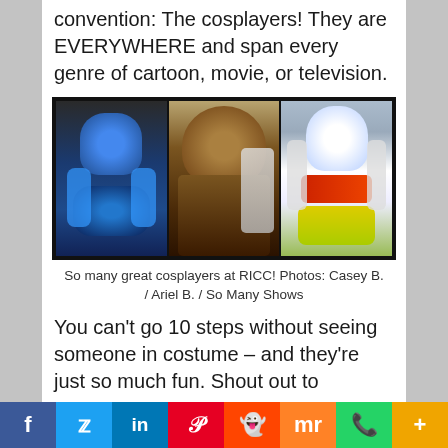convention: The cosplayers! They are EVERYWHERE and span every genre of cartoon, movie, or television.
[Figure (photo): Three cosplay photos side by side: left photo shows a person in a blue Mega Man armor costume, center photo shows a Chewbacca costume with a Princess Leia cosplayer, right photo shows a Buzz Lightyear costume outdoors.]
So many great cosplayers at RICC! Photos: Casey B. / Ariel B. / So Many Shows
You can't go 10 steps without seeing someone in costume – and they're just so much fun. Shout out to
f  t  in  P  S  m  (whatsapp)  +